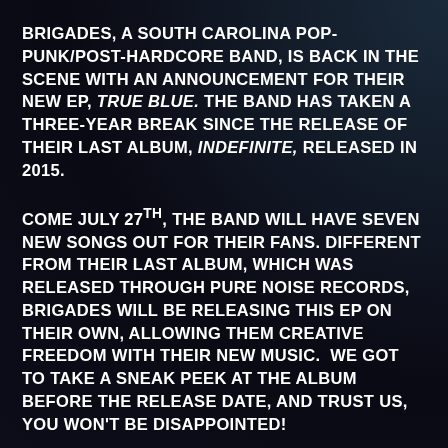BRIGADES, A SOUTH CAROLINA POP-PUNK/POST-HARDCORE BAND, IS BACK IN THE SCENE WITH AN ANNOUNCEMENT FOR THEIR NEW EP, TRUE BLUE. THE BAND HAS TAKEN A THREE-YEAR BREAK SINCE THE RELEASE OF THEIR LAST ALBUM, INDEFINITE, RELEASED IN 2015.
COME JULY 27TH, THE BAND WILL HAVE SEVEN NEW SONGS OUT FOR THEIR FANS. DIFFERENT FROM THEIR LAST ALBUM, WHICH WAS RELEASED THROUGH PURE NOISE RECORDS, BRIGADES WILL BE RELEASING THIS EP ON THEIR OWN, ALLOWING THEM CREATIVE FREEDOM WITH THEIR NEW MUSIC. WE GOT TO TAKE A SNEAK PEEK AT THE ALBUM BEFORE THE RELEASE DATE, AND TRUST US, YOU WON'T BE DISAPPOINTED!